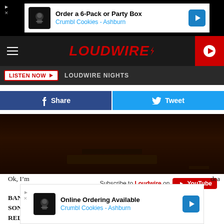[Figure (screenshot): Ad banner: Order a 6-Pack or Party Box - Crumbl Cookies - Ashburn]
LOUDWIRE
LISTEN NOW  LOUDWIRE NIGHTS
Share  Tweet
[Figure (screenshot): Dark video thumbnail showing a dimly lit room]
Subscribe to Loudwire on YouTube
BAND: Death Tour
SONG: “D*E*S*T*R*O*Y”
RELEASED: June 22
Ok, I’m  ...  dea
[Figure (screenshot): Ad banner: Online Ordering Available - Crumbl Cookies - Ashburn]